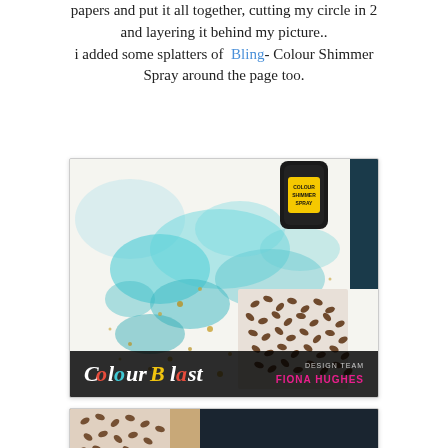papers and put it all together, cutting my circle in 2 and layering it behind my picture.. i added some splatters of Bling- Colour Shimmer Spray around the page too.
[Figure (photo): Photo of a craft project showing a white page/canvas with turquoise and gold shimmer spray splatters, a patterned paper with dark leaf/seed prints, and a black Colour Shimmer Spray can in the top corner. Bottom bar shows 'Colour Blast' logo and 'DESIGN TEAM FIONA HUGHES'.]
[Figure (photo): Partial view of another craft project photo showing patterned paper with brown/gold prints and a dark background.]